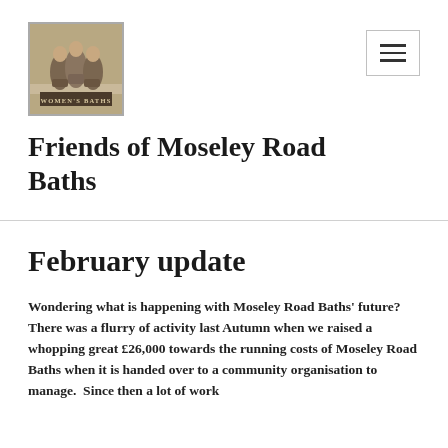[Figure (logo): Friends of Moseley Road Baths logo with decorative figures and WOMEN'S BATHS banner at bottom]
Friends of Moseley Road Baths
February update
Wondering what is happening with Moseley Road Baths' future?  There was a flurry of activity last Autumn when we raised a whopping great £26,000 towards the running costs of Moseley Road Baths when it is handed over to a community organisation to manage.  Since then a lot of work